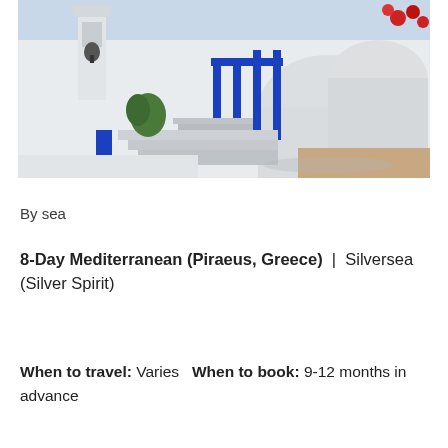[Figure (photo): Santorini, Greece scene showing iconic white-washed buildings with blue gates/doors, curved domed architecture, stone steps, and red flowers against a bright daytime sky]
By sea
8-Day Mediterranean (Piraeus, Greece)  |  Silversea (Silver Spirit)
When to travel: Varies  When to book: 9-12 months in advance